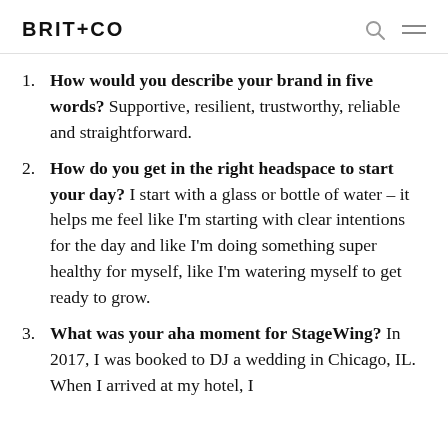BRIT+CO
How would you describe your brand in five words? Supportive, resilient, trustworthy, reliable and straightforward.
How do you get in the right headspace to start your day? I start with a glass or bottle of water – it helps me feel like I'm starting with clear intentions for the day and like I'm doing something super healthy for myself, like I'm watering myself to get ready to grow.
What was your aha moment for StageWing? In 2017, I was booked to DJ a wedding in Chicago, IL. When I arrived at my hotel, I